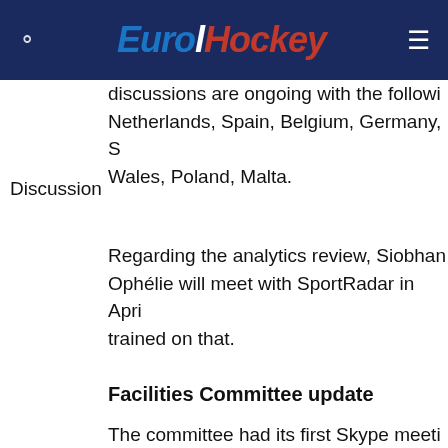EuroHockey
discussions are ongoing with the following: Netherlands, Spain, Belgium, Germany, S… Wales, Poland, Malta.
Discussion
Regarding the analytics review, Siobhan… Ophélie will meet with SportRadar in Apri… trained on that.
Facilities Committee update
The committee had its first Skype meeti… February 14th and will meet face-to-fac… 24th, straight after the Executive Board… the EHF office. They are currently looking… a decision tree to help NAs and clubs fin… pitch. They will get a Polytan presentatio…